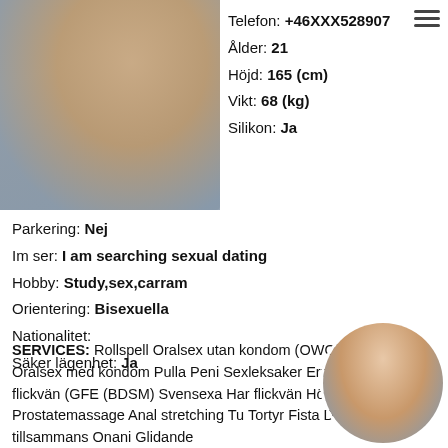[Figure (photo): Photo of a person, left side of upper body visible, wearing light colored top, outdoor background with greenery]
Telefon: +46XXX528907
Ålder: 21
Höjd: 165 (cm)
Vikt: 68 (kg)
Silikon: Ja
Parkering: Nej
Im ser: I am searching sexual dating
Hobby: Study,sex,carram
Orientering: Bisexuella
Nationalitet:
Säker lägenhet: Ja
SERVICES: Rollspell Oralsex utan kondom (OWO) Strap-on Oralsex med kondom Pulla Peni Sexleksaker Erfarenhet av flickvän (GFE (BDSM) Svensexa Har flickvän Högklac Kyss Prostatemassage Anal stretching Tu Tortyr Fista Duscha tillsammans Onani Glidande
[Figure (photo): Small circular thumbnail photo of a person in white and blue outfit]